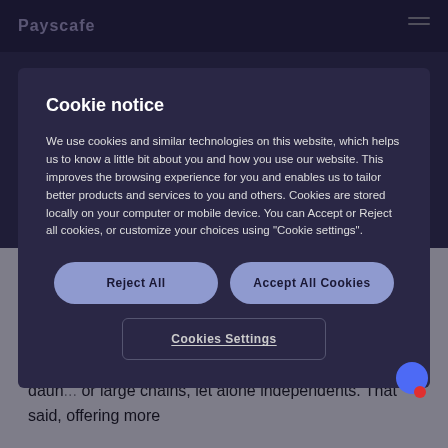Payscafe
Cookie notice
We use cookies and similar technologies on this website, which helps us to know a little bit about you and how you use our website. This improves the browsing experience for you and enables us to tailor better products and services to you and others. Cookies are stored locally on your computer or mobile device. You can Accept or Reject all cookies, or customize your choices using "Cookie settings".
Reject All
Accept All Cookies
Cookies Settings
increasingly expect to pay using their preferred payment method. And this extends to payment at the pump.
Cost, infrastructural and technical challenges are daun... or large chains, let alone independents. That said, offering more